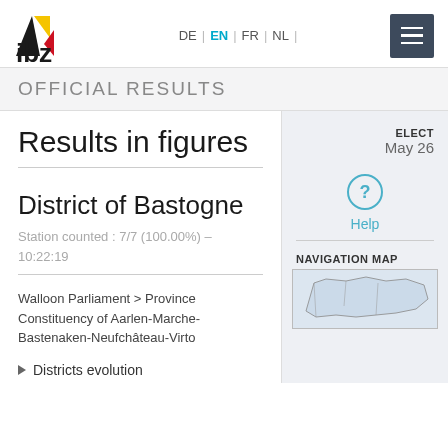IBZ | OFFICIAL RESULTS
Results in figures
District of Bastogne
Station counted : 7/7 (100.00%) – 10:22:19
Walloon Parliament > Province Constituency of Aarlen-Marche-Bastenaken-Neufchâteau-Virto
Districts evolution
ELECT
May 26
Help
NAVIGATION MAP
[Figure (map): Belgium navigation map outline]